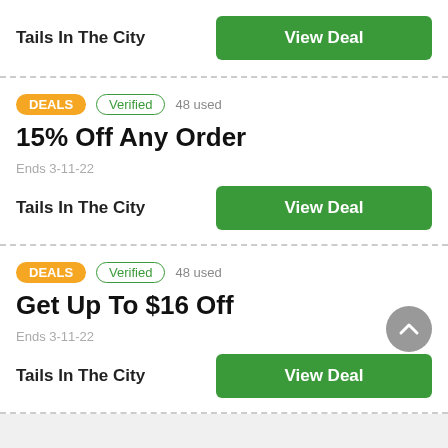Tails In The City
View Deal
DEALS  Verified  48 used
15% Off Any Order
Ends 3-11-22
Tails In The City
View Deal
DEALS  Verified  48 used
Get Up To $16 Off
Ends 3-11-22
Tails In The City
View Deal